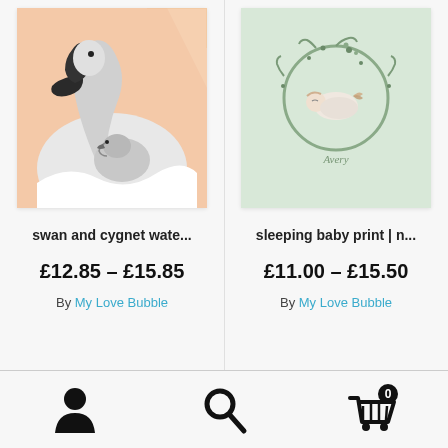[Figure (illustration): Swan and cygnet watercolor painting in a white frame — a large swan with black beak curving over a small fluffy cygnet, peach/orange and grey tones]
[Figure (illustration): Sleeping baby print in a white frame — a circular wreath of branches with a small sleeping baby and butterfly inside, mint green background, text 'Avery']
swan and cygnet wate...
sleeping baby print | n...
£12.85 – £15.85
£11.00 – £15.50
By My Love Bubble
By My Love Bubble
[Figure (illustration): User/person icon (black silhouette)]
[Figure (illustration): Search/magnifying glass icon (black)]
[Figure (illustration): Shopping cart/basket icon with badge showing '0']